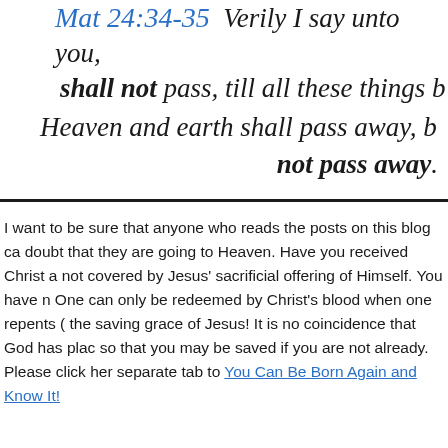Mat 24:34-35  Verily I say unto you, This generation shall not pass, till all these things be fulfilled. Heaven and earth shall pass away, but my words shall not pass away.
I want to be sure that anyone who reads the posts on this blog can know without a doubt that they are going to Heaven. Have you received Christ as your Savior? Sin is not covered by Jesus' sacrificial offering of Himself. You have not repented of your sin. One can only be redeemed by Christ's blood when one repents (turns away from sin) of the saving grace of Jesus! It is no coincidence that God has placed you on this blog page so that you may be saved if you are not already. Please click here and it will open in a separate tab to You Can Be Born Again and Know It!